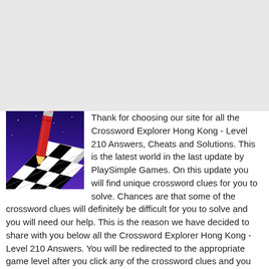[Figure (other): Gray advertisement placeholder banner at top of page]
[Figure (illustration): Crossword Explorer game icon showing a red pencil standing on a black and white crossword grid against a purple/blue background]
Thank for choosing our site for all the Crossword Explorer Hong Kong - Level 210 Answers, Cheats and Solutions. This is the latest world in the last update by PlaySimple Games. On this update you will find unique crossword clues for you to solve. Chances are that some of the crossword clues will definitely be difficult for you to solve and you will need our help. This is the reason we have decided to share with you below all the Crossword Explorer Hong Kong - Level 210 Answers. You will be redirected to the appropriate game level after you click any of the crossword clues and you will find the solution.